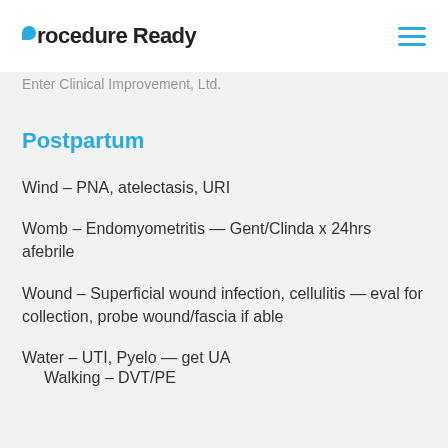Procedure Ready
Enter Clinical Improvement, Ltd.
Postpartum
Wind – PNA, atelectasis, URI
Womb – Endomyometritis — Gent/Clinda x 24hrs afebrile
Wound – Superficial wound infection, cellulitis — eval for collection, probe wound/fascia if able
Water – UTI, Pyelo — get UA
Walking – DVT/PE